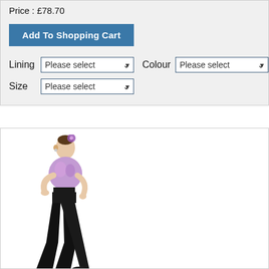Price : £78.70
Add To Shopping Cart
Lining  Please select    Colour  Please select
Size  Please select
[Figure (photo): A female dancer wearing a purple/lavender crop top with black flared trousers, posed standing with one hand on hip, hair up with a purple flower accessory.]